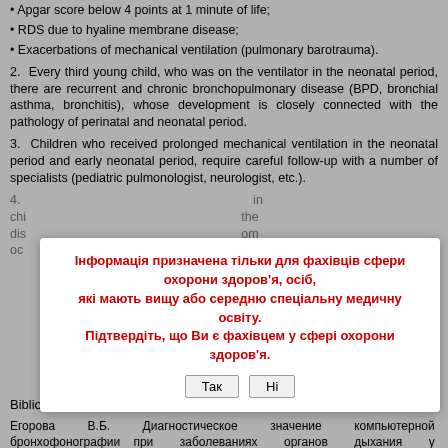Apgar score below 4 points at 1 minute of life;
RDS due to hyaline membrane disease;
Exacerbations of mechanical ventilation (pulmonary barotrauma).
2. Every third young child, who was on the ventilator in the neonatal period, there are recurrent and chronic bronchopulmonary disease (BPD, bronchial asthma, bronchitis), whose development is closely connected with the pathology of perinatal and neonatal period.
3. Children who received prolonged mechanical ventilation in the neonatal period and early neonatal period, require careful follow-up with a number of specialists (pediatric pulmonologist, neurologist, etc.).
4. [partially obscured] in children [partially obscured] the disease [partially obscured] om occupation [partially obscured]
[Figure (other): Modal dialog overlay with Ukrainian text: 'Інформація призначена тільки для фахівців сфери охорони здоров'я, осіб, які мають вищу або середню спеціальну медичну освіту. Підтвердіть, що Ви є фахівцем у сфері охорони здоров'я.' with two buttons: 'Так' and 'Ні']
Bibliography
Егорова В.Б. Диагностическое значение компьютерной бронхофонографии при заболеваниях органов дыхания у новорожденных / В. Б. Егорова [Текст]: автореф. дисс. канд. мед. наук. — М., 2006. — 22 с.
Овсянников Д.Ю. Система оказания медицинской помощи детям, страдающих бронхолегочной дисплазией: Руководство для практикующих врачей / Под ред. Л. Г. Кузьменко [Текст]. — М.: МДВ, 2010. — 152 с.
Овсянников Д.Ю. Бронхолегочная дисплазия: естественное развитие, исходы, контроль / Д. Ю. Овсянников [Текст] // Педиатрия. — 2011. — № 90 (1). — С.